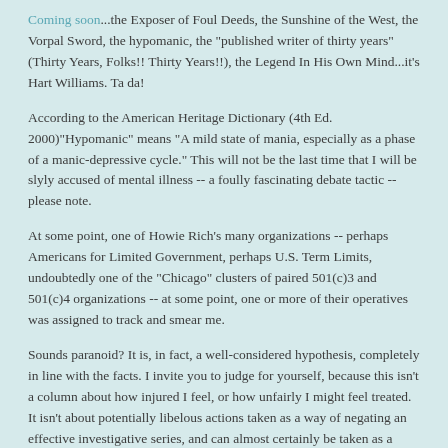Coming soon...the Exposer of Foul Deeds, the Sunshine of the West, the Vorpal Sword, the hypomanic, the "published writer of thirty years" (Thirty Years, Folks!! Thirty Years!!), the Legend In His Own Mind...it's Hart Williams. Ta da!
According to the American Heritage Dictionary (4th Ed. 2000)"Hypomanic" means "A mild state of mania, especially as a phase of a manic-depressive cycle." This will not be the last time that I will be slyly accused of mental illness -- a foully fascinating debate tactic -- please note.
At some point, one of Howie Rich's many organizations -- perhaps Americans for Limited Government, perhaps U.S. Term Limits, undoubtedly one of the "Chicago" clusters of paired 501(c)3 and 501(c)4 organizations -- at some point, one or more of their operatives was assigned to track and smear me.
Sounds paranoid? It is, in fact, a well-considered hypothesis, completely in line with the facts. I invite you to judge for yourself, because this isn't a column about how injured I feel, or how unfairly I might feel treated. It isn't about potentially libelous actions taken as a way of negating an effective investigative series, and can almost certainly be taken as a high, if left-handed compliment.